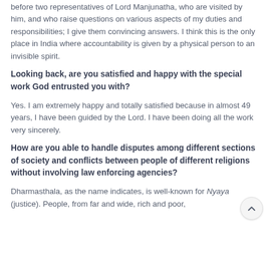before two representatives of Lord Manjunatha, who are visited by him, and who raise questions on various aspects of my duties and responsibilities; I give them convincing answers. I think this is the only place in India where accountability is given by a physical person to an invisible spirit.
Looking back, are you satisfied and happy with the special work God entrusted you with?
Yes. I am extremely happy and totally satisfied because in almost 49 years, I have been guided by the Lord. I have been doing all the work very sincerely.
How are you able to handle disputes among different sections of society and conflicts between people of different religions without involving law enforcing agencies?
Dharmasthala, as the name indicates, is well-known for Nyaya (justice). People, from far and wide, rich and poor,